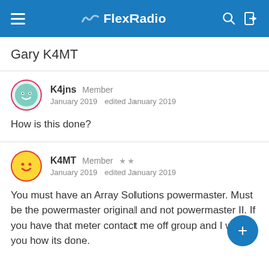FlexRadio
Gary K4MT
K4jns Member
January 2019  edited January 2019
How is this done?
K4MT Member ★★
January 2019  edited January 2019
You must have an Array Solutions powermaster. Must be the powermaster original and not powermaster II.  If you have that meter contact me off group and I will tell you how its done.